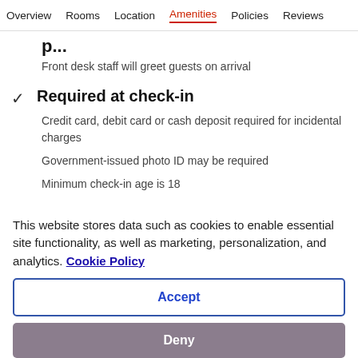Overview  Rooms  Location  Amenities  Policies  Reviews
p...
Front desk staff will greet guests on arrival
Required at check-in
Credit card, debit card or cash deposit required for incidental charges
Government-issued photo ID may be required
Minimum check-in age is 18
Pets
This website stores data such as cookies to enable essential site functionality, as well as marketing, personalization, and analytics. Cookie Policy
Accept
Deny